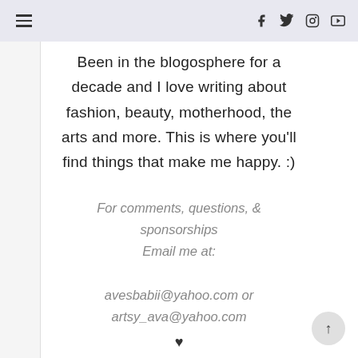≡  f  𝕏  ◎  ▶
Been in the blogosphere for a decade and I love writing about fashion, beauty, motherhood, the arts and more. This is where you'll find things that make me happy. :)
For comments, questions, & sponsorships Email me at: avesbabii@yahoo.com or artsy_ava@yahoo.com ♥